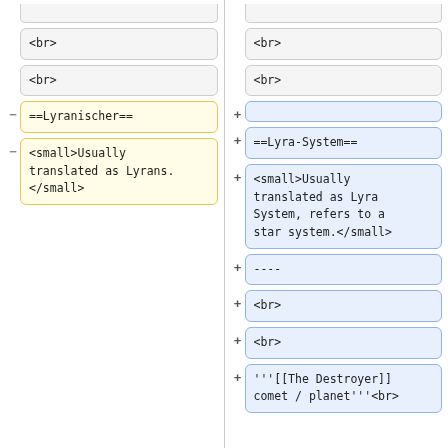[Figure (screenshot): Diff view showing two columns of wiki markup changes. Left column (deletions, yellow) and right column (additions, blue). Rows contain code snippets like <br>, ==Lyranischer==, <small>Usually translated as Lyrans.</small> on left; and <br>, ==Lyra-System==, <small>Usually translated as Lyra System, refers to a star system.</small>, ----, <br>, <br>, '''[[The Destroyer]] comet / planet'''<br> on right.]